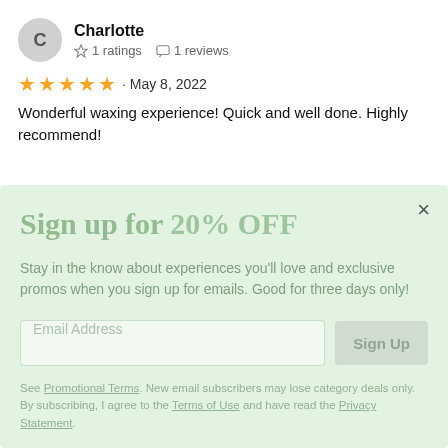C
Charlotte
☆ 1 ratings  □ 1 reviews
★★★★★ · May 8, 2022
Wonderful waxing experience! Quick and well done. Highly recommend!
Sign up for 20% OFF
Stay in the know about experiences you'll love and exclusive promos when you sign up for emails. Good for three days only!
Email Address
Sign Up
See Promotional Terms. New email subscribers may lose category deals only. By subscribing, I agree to the Terms of Use and have read the Privacy Statement.